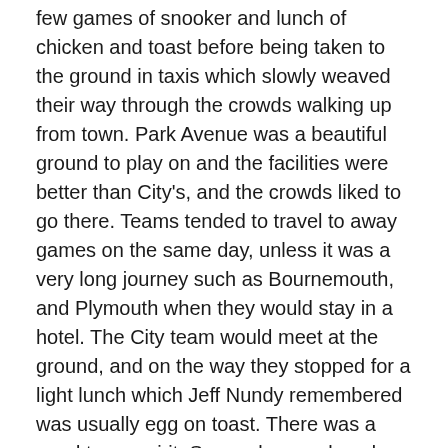few games of snooker and lunch of chicken and toast before being taken to the ground in taxis which slowly weaved their way through the crowds walking up from town. Park Avenue was a beautiful ground to play on and the facilities were better than City's, and the crowds liked to go there. Teams tended to travel to away games on the same day, unless it was a very long journey such as Bournemouth, and Plymouth when they would stay in a hotel. The City team would meet at the ground, and on the way they stopped for a light lunch which Jeff Nundy remembered was usually egg on toast. There was a good team spirit. Some players played cards on the coach or just chatted. John McCole and Bobby Webb were jokers and George Mulholland had a dry sense of humour, so there was plenty of fun.